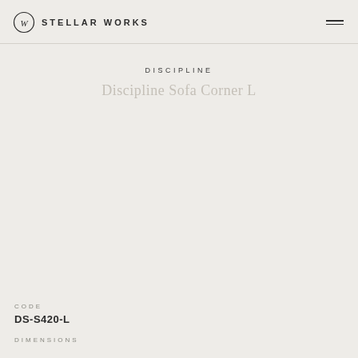STELLAR WORKS
DISCIPLINE
Discipline Sofa Corner L
CODE
DS-S420-L
DIMENSIONS